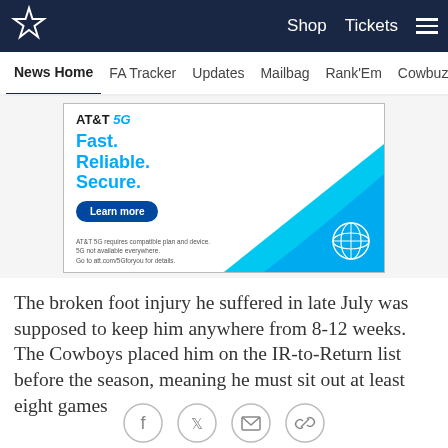Dallas Cowboys navigation: Shop, Tickets, Menu
News Home | FA Tracker | Updates | Mailbag | Rank'Em | Cowbuz
[Figure (infographic): AT&T 5G advertisement. Text: AT&T 5G Fast. Reliable. Secure. Learn more button. Fine print: AT&T 5G requires compatible plan and device. 5G not available everywhere. Go to att.com/5Gforyou for details. Blue swoosh graphic and AT&T globe logo on right side.]
The broken foot injury he suffered in late July was supposed to keep him anywhere from 8-12 weeks. The Cowboys placed him on the IR-to-Return list before the season, meaning he must sit out at least eight games